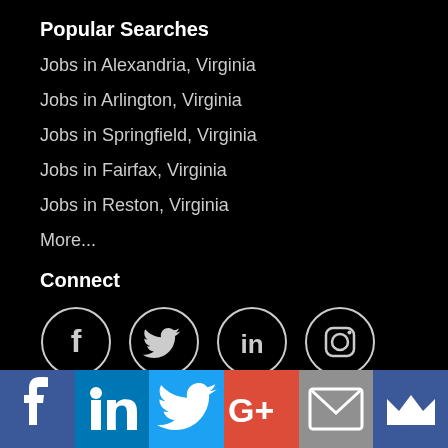Popular Searches
Jobs in Alexandria, Virginia
Jobs in Arlington, Virginia
Jobs in Springfield, Virginia
Jobs in Fairfax, Virginia
Jobs in Reston, Virginia
More...
Connect
[Figure (infographic): Four social media icon circles: Facebook (f), Twitter (bird), LinkedIn (in), Instagram (camera)]
[Figure (infographic): Share bar with six colored buttons: Facebook (dark blue), LinkedIn (blue), Twitter (light blue), Google+ (red), Email (gray), Crown (dark blue)]